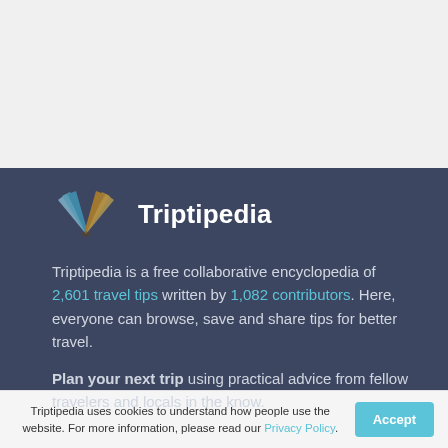[Figure (illustration): Light gray empty area at the top of the page, representing a blank content region above the Triptipedia info section.]
[Figure (logo): Triptipedia logo: an open book icon with blue and gold pages, beside the bold white text 'Triptipedia']
Triptipedia is a free collaborative encyclopedia of 2,601 travel tips written by 1,082 contributors. Here, everyone can browse, save and share tips for better travel.
Plan your next trip using practical advice from fellow travelers and locals in the know.
Triptipedia uses cookies to understand how people use the website. For more information, please read our Privacy Policy.